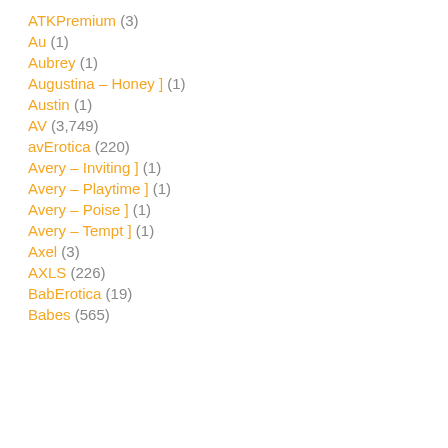ATKPremium (3)
Au (1)
Aubrey (1)
Augustina – Honey ] (1)
Austin (1)
AV (3,749)
avErotica (220)
Avery – Inviting ] (1)
Avery – Playtime ] (1)
Avery – Poise ] (1)
Avery – Tempt ] (1)
Axel (3)
AXLS (226)
BabErotica (19)
Babes (565)